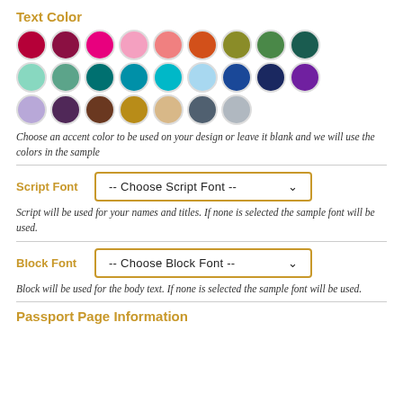Text Color
[Figure (illustration): Color swatch palette with 3 rows of circular color swatches: row 1 has crimson, dark red/maroon, hot pink, light pink, salmon/coral, orange-red, olive/yellow-green, medium green, dark teal; row 2 has light mint, sage green, dark teal, teal, cyan, light blue, navy blue, dark navy, purple; row 3 has lavender, dark purple, brown, gold/mustard, beige/tan, slate gray, light gray]
Choose an accent color to be used on your design or leave it blank and we will use the colors in the sample
Script Font
-- Choose Script Font --
Script will be used for your names and titles. If none is selected the sample font will be used.
Block Font
-- Choose Block Font --
Block will be used for the body text. If none is selected the sample font will be used.
Passport Page Information